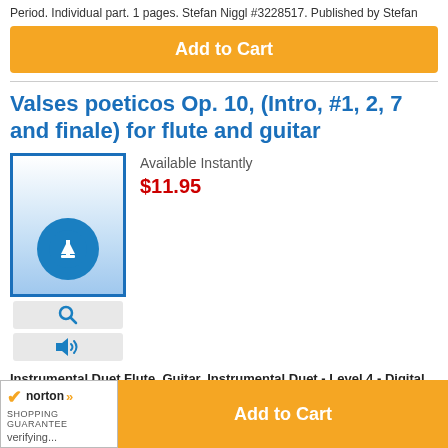Period. Individual part. 1 pages. Stefan Niggl #3228517. Published by Stefan
Add to Cart
Valses poeticos Op. 10, (Intro, #1, 2, 7 and finale) for flute and guitar
[Figure (illustration): Digital download product image with blue gradient background and white download icon (arrow pointing down into circle) inside a circular badge. Below are two icon buttons: a magnifying glass and a speaker/audio icon.]
Available Instantly
$11.95
Instrumental Duet Flute, Guitar, Instrumental Duet - Level 4 - Digital Download
Composed by Enrique Granados (1867-1916). Arranged by Klas Krantz.
[Figure (logo): Norton Shopping Guarantee badge with checkmark and verifying... text]
Add to Cart